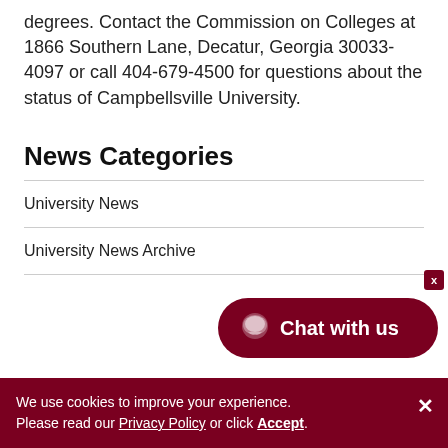degrees. Contact the Commission on Colleges at 1866 Southern Lane, Decatur, Georgia 30033-4097 or call 404-679-4500 for questions about the status of Campbellsville University.
News Categories
University News
University News Archive
We use cookies to improve your experience. Please read our Privacy Policy or click Accept.